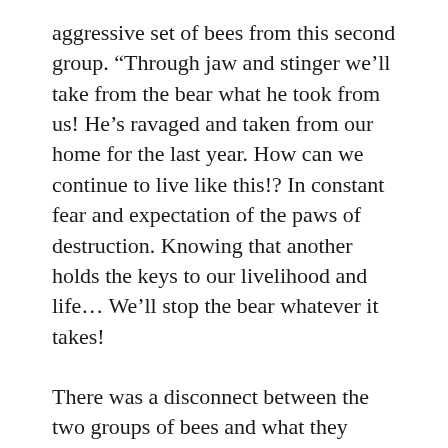aggressive set of bees from this second group. “Through jaw and stinger we’ll take from the bear what he took from us! He’s ravaged and taken from our home for the last year. How can we continue to live like this!? In constant fear and expectation of the paws of destruction. Knowing that another holds the keys to our livelihood and life… We’ll stop the bear whatever it takes!
There was a disconnect between the two groups of bees and what they thought best for the hive, so a vote was put out. “Say aye, to give the fox his 40% in protection from the bear!” The majority of the bees buzzed with furious